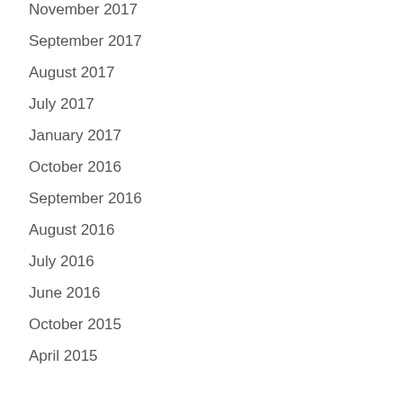November 2017
September 2017
August 2017
July 2017
January 2017
October 2016
September 2016
August 2016
July 2016
June 2016
October 2015
April 2015